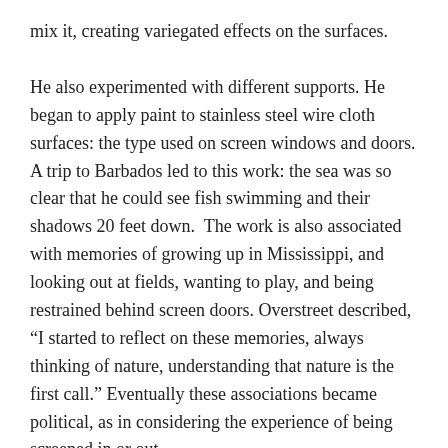mix it, creating variegated effects on the surfaces.
He also experimented with different supports. He began to apply paint to stainless steel wire cloth surfaces: the type used on screen windows and doors. A trip to Barbados led to this work: the sea was so clear that he could see fish swimming and their shadows 20 feet down.  The work is also associated with memories of growing up in Mississippi, and looking out at fields, wanting to play, and being restrained behind screen doors. Overstreet described, “I started to reflect on these memories, always thinking of nature, understanding that nature is the first call.” Eventually these associations became political, as in considering the experience of being screened in or out.
Overstreet was born in rural Mississippi - an area mostly